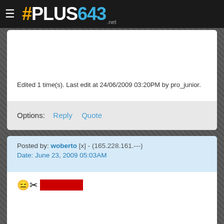#PLUS643 .net
Edited 1 time(s). Last edit at 24/06/2009 03:20PM by pro_junior.
Options:  Reply  Quote
Posted by: woberto [x] - (165.228.161.---)
Date: June 23, 2009 05:03AM
[Figure (other): Emoji face with scissors icon followed by a redacted red bar]
Edited 1 time(s). Last edit at 23/06/2009 05:03AM by woberto.